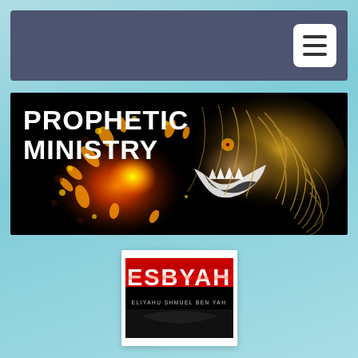[Figure (screenshot): Navigation bar with dark blue-grey background and hamburger menu icon (three horizontal lines) in white rounded square button on the right side]
[Figure (photo): Banner image with black background showing a roaring lion with flames/fire explosion effect on the left side, glowing golden mane. Bold white text reads PROPHETIC MINISTRY in the upper left.]
[Figure (logo): ESBYAH logo card on white background with red and black design. Large bold text ESBYAH with smaller text below reading ELIYAHU SHMUEL BEN YAH]